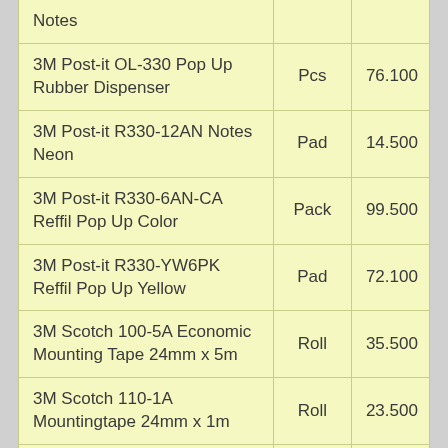| Product | Unit | Price |
| --- | --- | --- |
| Notes |  |  |
| 3M Post-it OL-330 Pop Up Rubber Dispenser | Pcs | 76.100 |
| 3M Post-it R330-12AN Notes Neon | Pad | 14.500 |
| 3M Post-it R330-6AN-CA Reffil Pop Up Color | Pack | 99.500 |
| 3M Post-it R330-YW6PK Reffil Pop Up Yellow | Pad | 72.100 |
| 3M Scotch 100-5A Economic Mounting Tape 24mm x 5m | Roll | 35.500 |
| 3M Scotch 110-1A Mountingtape 24mm x 1m | Roll | 23.500 |
| 3M Scotch 110-3A Mountingtape | Roll | 54.500 |